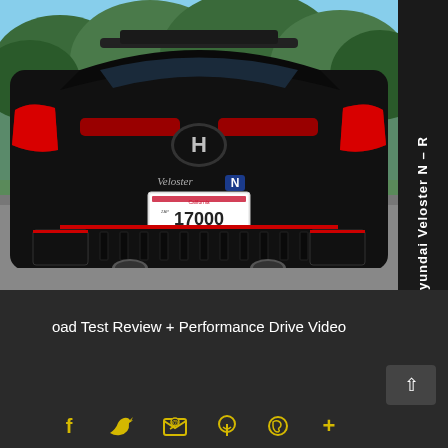[Figure (photo): Rear view of a black 2019 Hyundai Veloster N with California license plate 17000, showing Hyundai logo, Veloster badge, N badge, dual exhaust, red-accented diffuser, and sporty spoiler, photographed outdoors on a road with trees in background]
2019 Hyundai Veloster N – Road Test Review + Performance Drive Video
oad Test Review + Performance Drive Video